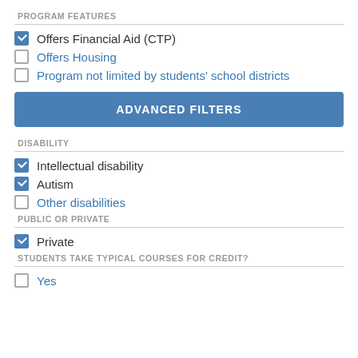PROGRAM FEATURES
Offers Financial Aid (CTP) [checked]
Offers Housing [unchecked]
Program not limited by students' school districts [unchecked]
ADVANCED FILTERS
DISABILITY
Intellectual disability [checked]
Autism [checked]
Other disabilities [unchecked]
PUBLIC OR PRIVATE
Private [checked]
STUDENTS TAKE TYPICAL COURSES FOR CREDIT?
Yes [unchecked]